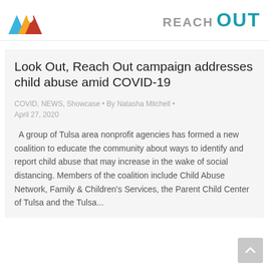[Figure (logo): Colorful logo with geometric shapes (triangles and heart) on the left side of the header]
[Figure (logo): REACH OUT logo in gray and teal on the right side of the header]
Look Out, Reach Out campaign addresses child abuse amid COVID-19
COVID, NEWS, Showcase • By Natasha Mitchell • April 27, 2020
A group of Tulsa area nonprofit agencies has formed a new coalition to educate the community about ways to identify and report child abuse that may increase in the wake of social distancing. Members of the coalition include Child Abuse Network, Family & Children's Services, the Parent Child Center of Tulsa and the Tulsa...